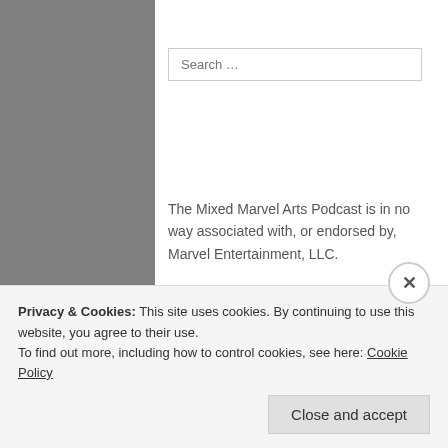[Figure (screenshot): Search input box with placeholder text 'Search ...']
The Mixed Marvel Arts Podcast is in no way associated with, or endorsed by, Marvel Entertainment, LLC.
The Mixed Marvel Arts Twitter!
My Tweets
The Mixed Marvel Arts Facebook!
Privacy & Cookies: This site uses cookies. By continuing to use this website, you agree to their use.
To find out more, including how to control cookies, see here: Cookie Policy
Close and accept